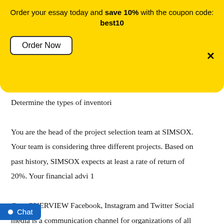Order your essay today and save 10% with the coupon code: best10
Determine the types of inventori
You are the head of the project selection team at SIMSOX. Your team is considering three different projects. Based on past history, SIMSOX expects at least a rate of return of 20%. Your financial advi 1
Case OVERVIEW Facebook, Instagram and Twitter Social media is a communication channel for organizations of all sizes. Many of us have personal social media pages that allow us to keep in touch with fr
Guidelines for Submission Submit a 10- to 13-slide PowerPoint presentation with detailed speaker notes that highlight the important points you want to emphasize to